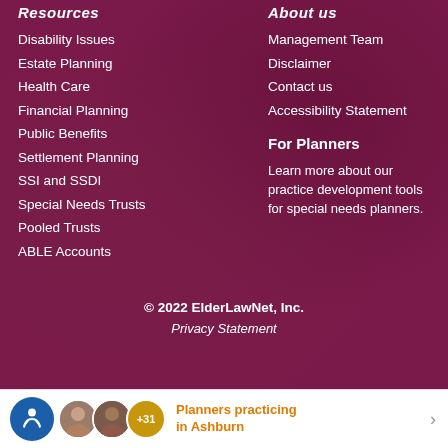Resources
Disability Issues
Estate Planning
Health Care
Financial Planning
Public Benefits
Settlement Planning
SSI and SSDI
Special Needs Trusts
Pooled Trusts
ABLE Accounts
About us
Management Team
Disclaimer
Contact us
Accessibility Statement
For Planners
Learn more about our practice development tools for special needs planners.
© 2022 ElderLawNet, Inc.
Privacy Statement
Planners practicing in Ashburn